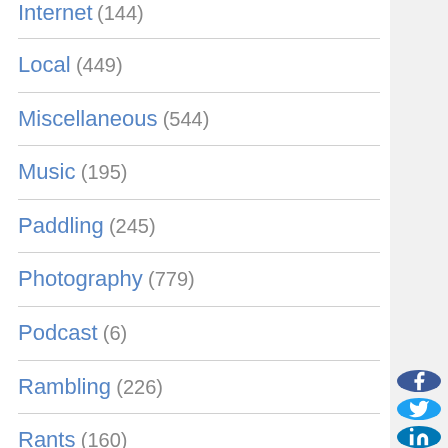Internet (144)
Local (449)
Miscellaneous (544)
Music (195)
Paddling (245)
Photography (779)
Podcast (6)
Rambling (226)
Rants (160)
Recipes (34)
Religion (48)